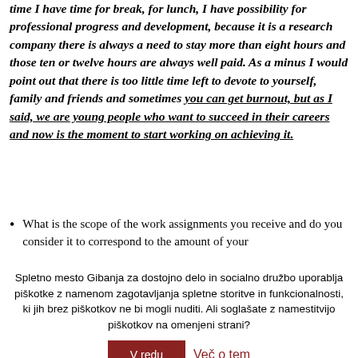time I have time for break, for lunch, I have possibility for professional progress and development, because it is a research company there is always a need to stay more than eight hours and those ten or twelve hours are always well paid. As a minus I would point out that there is too little time left to devote to yourself, family and friends and sometimes you can get burnout, but as I said, we are young people who want to succeed in their careers and now is the moment to start working on achieving it.
What is the scope of the work assignments you receive and do you consider it to correspond to the amount of your
Spletno mesto Gibanja za dostojno delo in socialno družbo uporablja piškotke z namenom zagotavljanja spletne storitve in funkcionalnosti, ki jih brez piškotkov ne bi mogli nuditi. Ali soglašate z namestitvijo piškotkov na omenjeni strani?